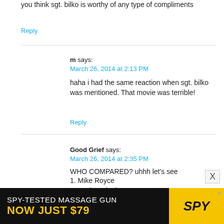you think sgt. bilko is worthy of any type of compliments
Reply
m says:
March 26, 2014 at 2:13 PM
haha i had the same reaction when sgt. bilko was mentioned. That movie was terrible!
Reply
Good Grief says:
March 26, 2014 at 2:35 PM
WHO COMPARED? uhhh let's see
1. Mike Royce
2. Kevin Beigel
[Figure (other): Advertisement banner: SPY-TESTED MASSAGE GUN NOW JUST $79 with SPY logo]